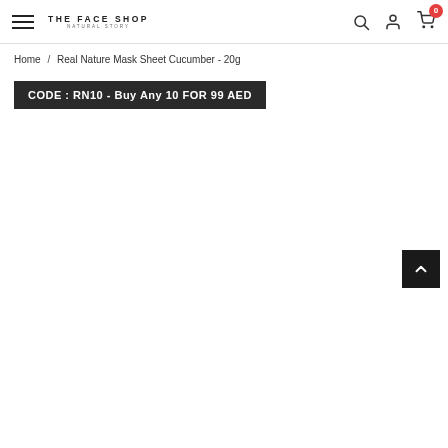THE FACE SHOP - NATURAL STORY navigation header with hamburger menu, search, account, and cart icons
Home / Real Nature Mask Sheet Cucumber - 20g
CODE : RN10 - Buy Any 10 FOR 99 AED
[Figure (other): Back to top arrow button (dark square with upward chevron)]